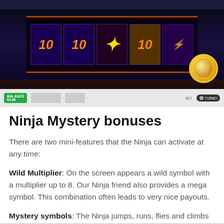[Figure (screenshot): Screenshot of a slot machine game called Ninja Mystery showing reels with number 10 symbols, a star/ninja shuriken symbol, and a golden coin badge overlay. Bottom bar shows game controls including a green balance button and turbo toggle.]
Ninja Mystery bonuses
There are two mini-features that the Ninja can activate at any time:
Wild Multiplier: On the screen appears a wild symbol with a multiplier up to 8. Our Ninja friend also provides a mega symbol. This combination often leads to very nice payouts.
Mystery symbols: The Ninja jumps, runs, flies and climbs across the screen. He leaves behind some of the same high symbols on the reels.